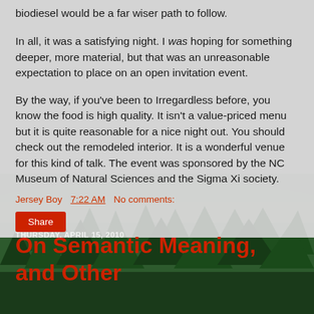biodiesel would be a far wiser path to follow.
In all, it was a satisfying night. I was hoping for something deeper, more material, but that was an unreasonable expectation to place on an open invitation event.
By the way, if you've been to Irregardless before, you know the food is high quality. It isn't a value-priced menu but it is quite reasonable for a nice night out. You should check out the remodeled interior. It is a wonderful venue for this kind of talk. The event was sponsored by the NC Museum of Natural Sciences and the Sigma Xi society.
Jersey Boy   7:22 AM   No comments:
Share
THURSDAY, APRIL 15, 2010
On Semantic Meaning, and Other